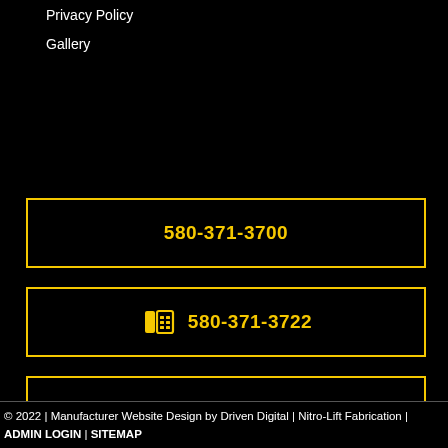Privacy Policy
Gallery
580-371-3700
580-371-3722
MAP IT
EMAIL US
© 2022 | Manufacturer Website Design by Driven Digital | Nitro-Lift Fabrication | ADMIN LOGIN | SITEMAP